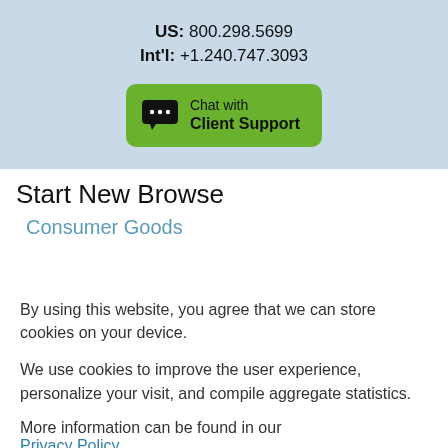US: 800.298.5699
Int'l: +1.240.747.3093
[Figure (other): Green chat button with speech bubble icon and text 'Chat with Client Support']
Start New Browse
Consumer Goods
By using this website, you agree that we can store cookies on your device.
We use cookies to improve the user experience, personalize your visit, and compile aggregate statistics.
More information can be found in our Privacy Policy .
Accept
Decline